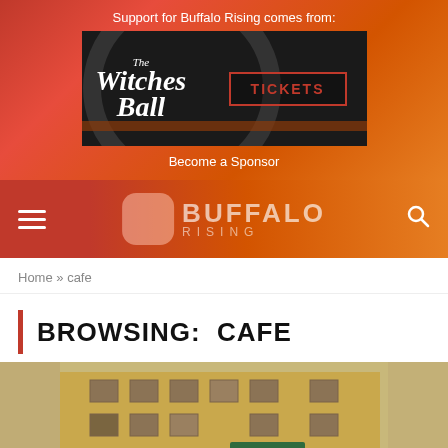Support for Buffalo Rising comes from:
[Figure (illustration): The Witches Ball event ad with TICKETS button on dark background]
Become a Sponsor
[Figure (logo): Buffalo Rising logo with hamburger menu and search icon on orange-red gradient nav bar]
Home » cafe
BROWSING:  CAFE
[Figure (photo): Brick building exterior photo, appears to be a multi-story urban building with a green sign]